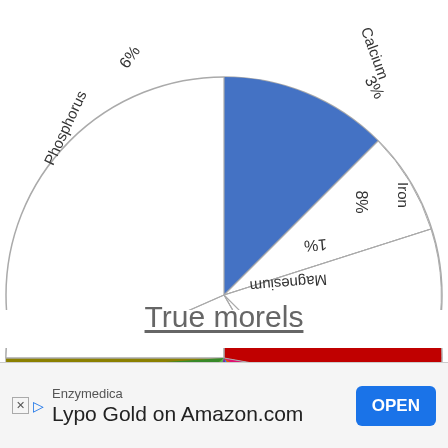[Figure (pie-chart): Minerals (top, partial)]
True morels
[Figure (pie-chart): True morels minerals]
Enzymedica Lypo Gold on Amazon.com OPEN